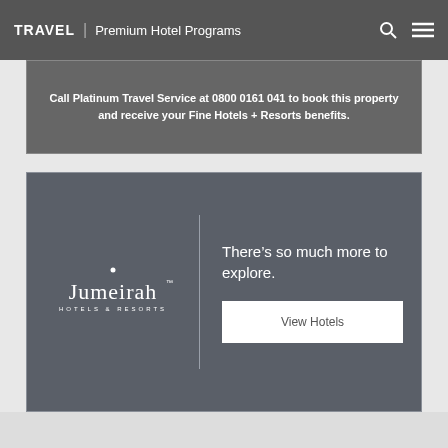TRAVEL | Premium Hotel Programs
Call Platinum Travel Service at 0800 0161 041 to book this property and receive your Fine Hotels + Resorts benefits.
[Figure (illustration): Jumeirah Hotels & Resorts advertisement banner with Jumeirah logo on left and text 'There's so much more to explore.' with a 'View Hotels' button on the right]
There's so much more to explore.
View Hotels